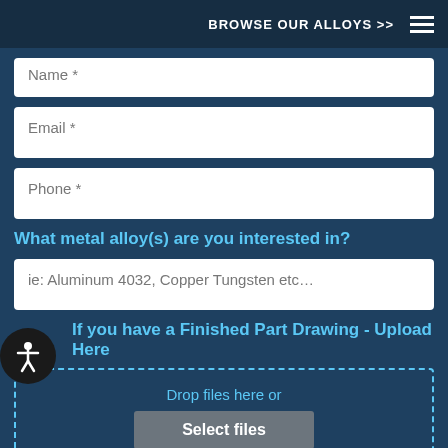BROWSE OUR ALLOYS >>
Name *
Email *
Phone *
What metal alloy(s) are you interested in?
ie: Aluminum 4032, Copper Tungsten etc...
If you have a Finished Part Drawing - Upload Here
Drop files here or
Select files